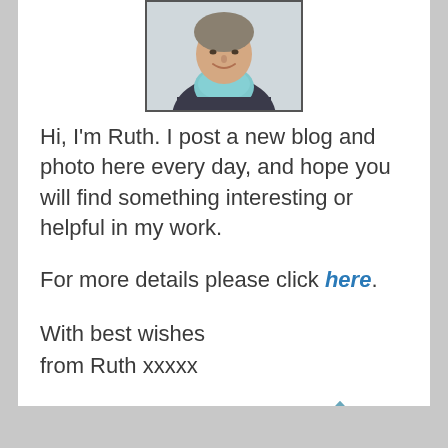[Figure (photo): Portrait photo of Ruth, a person wearing a teal/light blue snood/scarf and dark jacket, smiling, cropped to show face and upper shoulders.]
Hi, I'm Ruth. I post a new blog and photo here every day, and hope you will find something interesting or helpful in my work.
For more details please click here.
With best wishes
from Ruth xxxxx